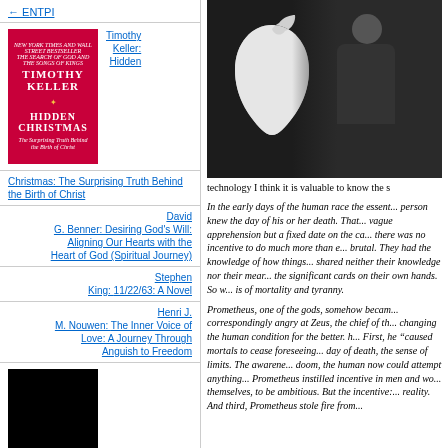[Figure (photo): Book cover of Hidden Christmas by Timothy Keller - red background with star]
Timothy Keller: Hidden
Christmas: The Surprising Truth Behind the Birth of Christ
David G. Benner: Desiring God's Will: Aligning Our Hearts with the Heart of God (Spiritual Journey)
Stephen King: 11/22/63: A Novel
Henri J. M. Nouwen: The Inner Voice of Love: A Journey Through Anguish to Freedom
[Figure (photo): Book cover of HOPE - dark cover with couple]
[Figure (photo): Photo of person in black turtleneck in front of Apple logo on dark background]
technology I think it is valuable to know the s
In the early days of the human race the essent... person knew the day of his or her death. That... vague apprehension but a fixed date on the ca... there was no incentive to do much more than e... brutal. They had the knowledge of how things... shared neither their knowledge nor their mear... the significant cards on their own hands. So w... is of mortality and tyranny.
Prometheus, one of the gods, somehow becam... correspondingly angry at Zeus, the chief of th... changing the human condition for the better. h... First, he "caused mortals to cease foreseeing... day of death, the sense of limits. The awarene... doom, the human now could attempt anything... Prometheus instilled incentive in men and wo... themselves, to be ambitious. But the incentive:... reality. And third, Prometheus stole fire from...